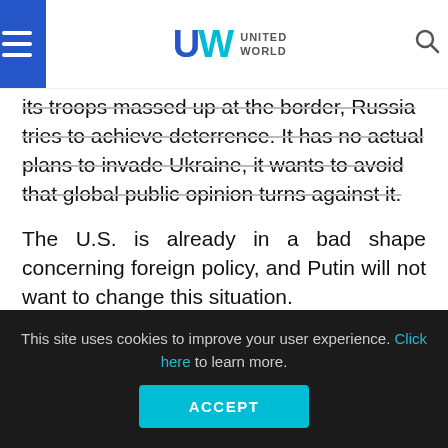United World
its troops massed up at the border, Russia tries to achieve deterrence. It has no actual plans to invade Ukraine, it wants to avoid that global public opinion turns against it.
The U.S. is already in a bad shape concerning foreign policy, and Putin will not want to change this situation.
[Figure (other): Partially visible blocked content placeholder box]
This site uses cookies to improve your user experience. Click here to learn more.
ACCEPT